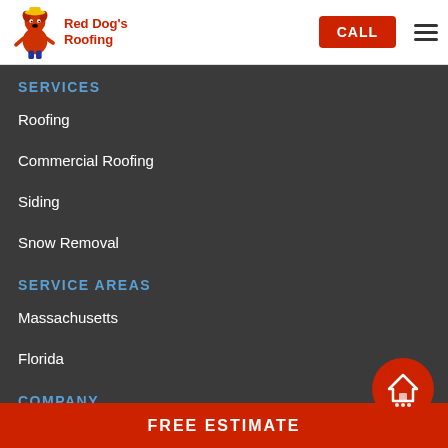[Figure (logo): Red Dog's Roofing logo with cartoon dog character and red/yellow text]
CALL
SERVICES
Roofing
Commercial Roofing
Siding
Snow Removal
SERVICE AREAS
Massachusetts
Florida
COMPANY
FREE ESTIMATE